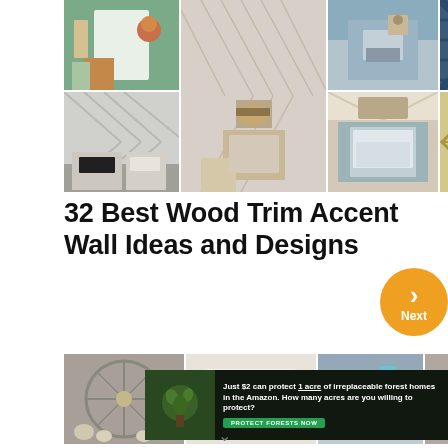[Figure (photo): Collage of bedroom and interior wall design photos showing wood trim accent walls in various styles including nursery with giraffe, chevron patterns, teal board and batten, and geometric wood designs]
32 Best Wood Trim Accent Wall Ideas and Designs
[Figure (photo): Collage of farmhouse and rustic wall decor photos including windmill decor, inspirational sign, fireplace mantle, and wall clock with shelves]
[Figure (photo): Advertisement banner: Just $2 can protect 1 acre of irreplaceable forest homes in the Amazon. How many acres are you willing to protect? PROTECT FORESTS NOW]